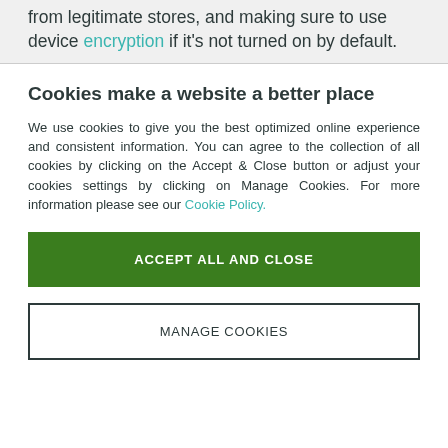from legitimate stores, and making sure to use device encryption if it's not turned on by default.
Cookies make a website a better place
We use cookies to give you the best optimized online experience and consistent information. You can agree to the collection of all cookies by clicking on the Accept & Close button or adjust your cookies settings by clicking on Manage Cookies. For more information please see our Cookie Policy.
ACCEPT ALL AND CLOSE
MANAGE COOKIES